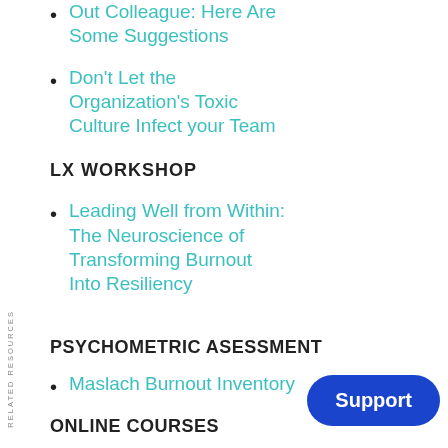Out Colleague: Here Are Some Suggestions
Don't Let the Organization's Toxic Culture Infect your Team
LX WORKSHOP
Leading Well from Within: The Neuroscience of Transforming Burnout Into Resiliency
RELATED RESOURCES
PSYCHOMETRIC ASESSMENT
Maslach Burnout Inventory
ONLINE COURSES
Building Physician Wellness